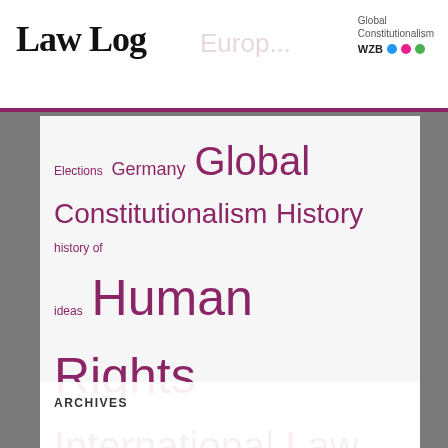Law Log — Global Constitutionalism WZB
[Figure (other): Tag cloud with legal topics in varying sizes. Tags include: Elections, Germany, Global, Constitutionalism, History, history of ideas, Human Rights, International Law, International Legal Thinking, Judicial Strategy, Legal History, Legitimacy, Liberal Democracy, Liberalism, Liberal Peace, Migration, Nationality Law, Political Philosophy, Populism, Proportionality, Rule of Law, Security, State, US Elections]
ARCHIVES